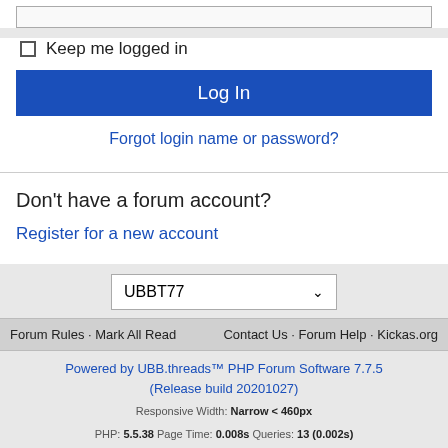[Figure (screenshot): Input field (top of page, partially visible)]
Keep me logged in
Log In
Forgot login name or password?
Don't have a forum account?
Register for a new account
UBBT77
Forum Rules · Mark All Read   Contact Us · Forum Help · Kickas.org
Powered by UBB.threads™ PHP Forum Software 7.7.5
(Release build 20201027)
Responsive Width: Narrow < 460px
PHP: 5.5.38 Page Time: 0.008s Queries: 13 (0.002s)
Memory: 2.7505 MB (Peak: 2.8166 MB) Data Comp: Zlib
Server Time: 2022-08-29 00:45:50 UTC
Valid HTML 5 and Valid CSS